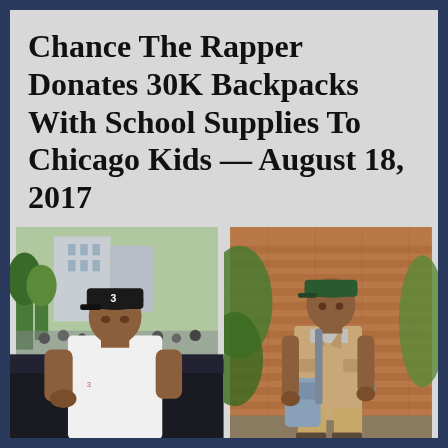Chance The Rapper Donates 30K Backpacks With School Supplies To Chicago Kids — August 18, 2017
[Figure (photo): Two side-by-side photos of Chance The Rapper. Left photo shows him outdoors in an urban setting wearing a black cap with '3' and a white t-shirt, leaning against a dark car, with crowd in background. Right photo shows him standing in front of a brick wall with green foliage, wearing a green cap, tan jacket, grey shirt, tan pants, holding a grey backpack.]